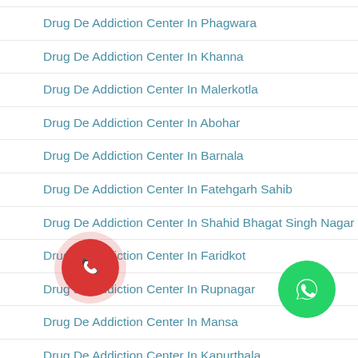Drug De Addiction Center In Phagwara
Drug De Addiction Center In Khanna
Drug De Addiction Center In Malerkotla
Drug De Addiction Center In Abohar
Drug De Addiction Center In Barnala
Drug De Addiction Center In Fatehgarh Sahib
Drug De Addiction Center In Shahid Bhagat Singh Nagar
Drug De Addiction Center In Faridkot
Drug De Addiction Center In Rupnagar
Drug De Addiction Center In Mansa
Drug De Addiction Center In Kapurthala
Drug De Addiction Center In Muktsar
Drug De Addiction Center In Moga
Drug De Addiction Center In Tarn Taran